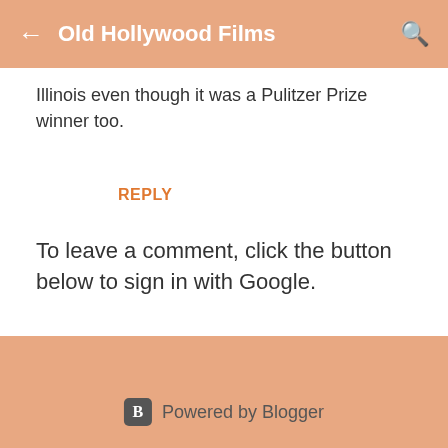Old Hollywood Films
Illinois even though it was a Pulitzer Prize winner too.
REPLY
To leave a comment, click the button below to sign in with Google.
SIGN IN WITH GOOGLE
Powered by Blogger